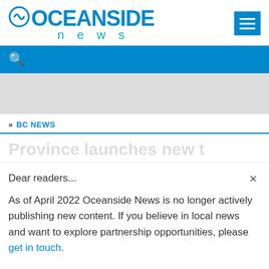OCEANSIDE news
[Figure (other): Search bar with magnifying glass icon on blue background]
[Figure (other): Gray advertisement placeholder banner]
» BC NEWS
Dear readers...
As of April 2022 Oceanside News is no longer actively publishing new content. If you believe in local news and want to explore partnership opportunities, please get in touch.